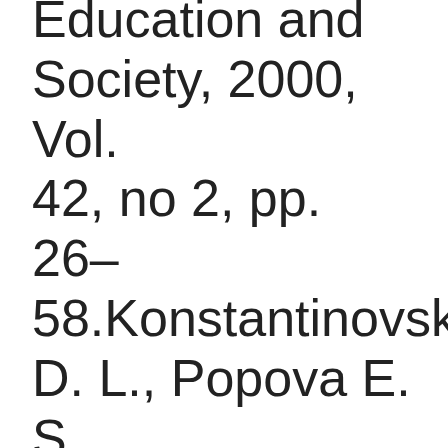Education and Society, 2000, Vol. 42, no 2, pp. 26–58.Konstantinovsky D. L., Popova E. S. Molodіozh' rynok